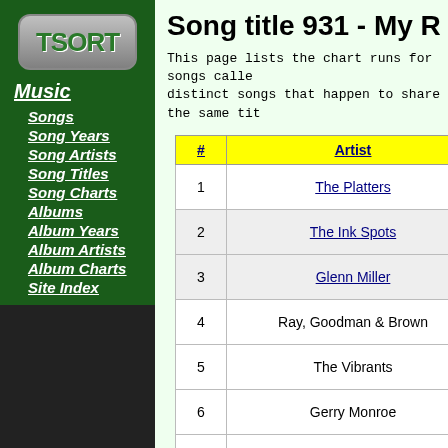[Figure (logo): TSORT logo in green text on gray rounded rectangle]
Music
Songs
Song Years
Song Artists
Song Titles
Song Charts
Albums
Album Years
Album Artists
Album Charts
Site Index
Song title 931 - My R
This page lists the chart runs for songs calle distinct songs that happen to share the same tit
| # | Artist |
| --- | --- |
| 1 | The Platters |
| 2 | The Ink Spots |
| 3 | Glenn Miller |
| 4 | Ray, Goodman & Brown |
| 5 | The Vibrants |
| 6 | Gerry Monroe |
| 7 | P J Proby |